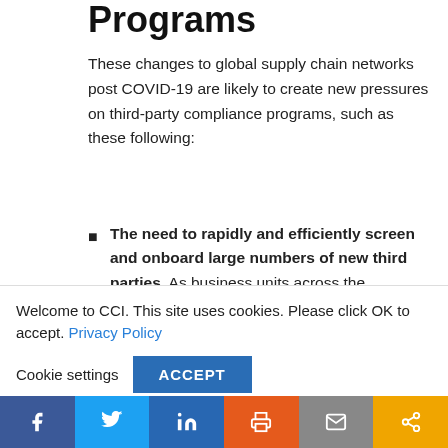Programs
These changes to global supply chain networks post COVID-19 are likely to create new pressures on third-party compliance programs, such as these following:
The need to rapidly and efficiently screen and onboard large numbers of new third parties. As business units across the enterprise rush to replace previously relied upon supply chain
Welcome to CCI. This site uses cookies. Please click OK to accept. Privacy Policy
Cookie settings   ACCEPT